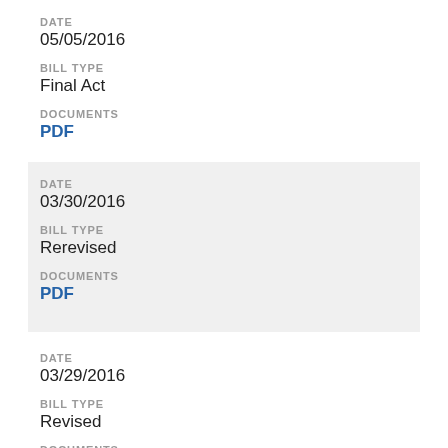DATE
05/05/2016
BILL TYPE
Final Act
DOCUMENTS
PDF
DATE
03/30/2016
BILL TYPE
Rerevised
DOCUMENTS
PDF
DATE
03/29/2016
BILL TYPE
Revised
DOCUMENTS
PDF